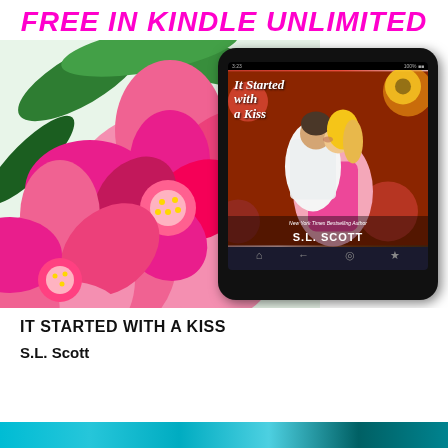FREE IN KINDLE UNLIMITED
[Figure (photo): A Kindle tablet device displaying the book cover of 'It Started with a Kiss' by S.L. Scott, shown against a background of large pink peony flowers with green leaves. The book cover shows a couple kissing, with the title in script font and author name prominently displayed.]
IT STARTED WITH A KISS
S.L. Scott
[Figure (photo): Bottom strip showing what appears to be a colorful teal/turquoise patterned background, partially visible at the very bottom of the page.]